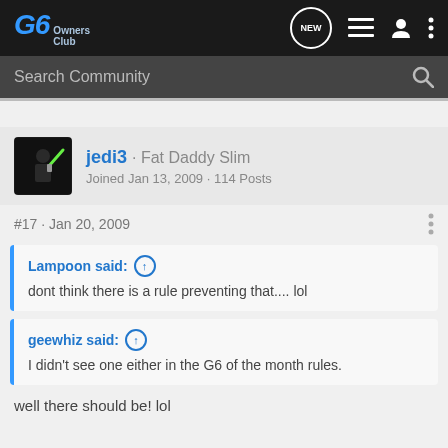G6 Owners Club
Search Community
jedi3 · Fat Daddy Slim
Joined Jan 13, 2009 · 114 Posts
#17 · Jan 20, 2009
Lampoon said:
dont think there is a rule preventing that.... lol
geewhiz said:
I didn't see one either in the G6 of the month rules.
well there should be! lol